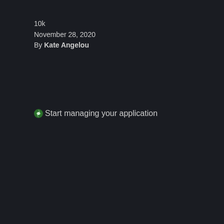10k
November 28, 2020
By Kate Angelou
Start managing your application